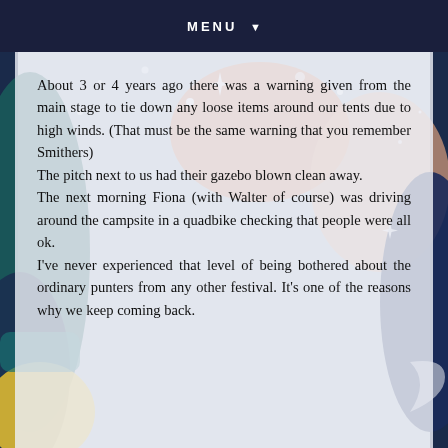MENU ▼
[Figure (illustration): Colorful illustrated background with celestial motifs including stars, moons, and abstract shapes in dark blue, orange, pink, teal, and yellow on a muted blue-grey background.]
About 3 or 4 years ago there was a warning given from the main stage to tie down any loose items around our tents due to high winds. (That must be the same warning that you remember Smithers)
The pitch next to us had their gazebo blown clean away.
The next morning Fiona (with Walter of course) was driving around the campsite in a quadbike checking that people were all ok.
I've never experienced that level of being bothered about the ordinary punters from any other festival. It's one of the reasons why we keep coming back.